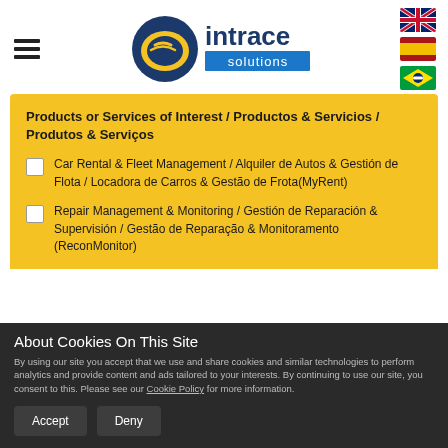[Figure (logo): Intrace Solutions logo with hamburger menu icon and country flag icons (UK, Spain, Brazil)]
Products or Services of Interest / Productos & Servicios / Produtos & Serviços
Car Rental & Fleet Management / Alquiler de Autos & Gestión de Flota / Locadora de Carros & Gestão de Frota(MyRent)
Repair Management & Monitoring / Gestión de Reparación & Supervisión / Gestão de Reparação & Monitoramento (ReconMonitor)
About Cookies On This Site
By using our site you accept that we use and share cookies and similar technologies to perform analytics and provide content and ads tailored to your interests. By continuing to use our site, you consent to this. Please see our Cookie Policy for more information.